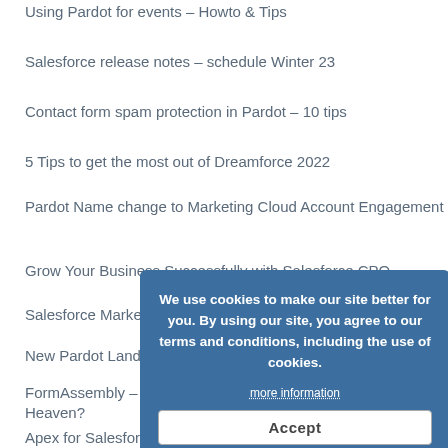Using Pardot for events – Howto & Tips
Salesforce release notes – schedule Winter 23
Contact form spam protection in Pardot – 10 tips
5 Tips to get the most out of Dreamforce 2022
Pardot Name change to Marketing Cloud Account Engagement
Grow Your Business Successfully with Salesforce CPQ
Salesforce Marketing Cloud August Release
New Pardot Landing Page Builder – Coming Up Next!
FormAssembly – Salesforce Marketing Cloud a Match Made in Heaven?
Apex for Salesforce: Indeed, Coding that Admins can Learn!
We use cookies to make our site better for you. By using our site, you agree to our terms and conditions, including the use of cookies.
more information
Accept